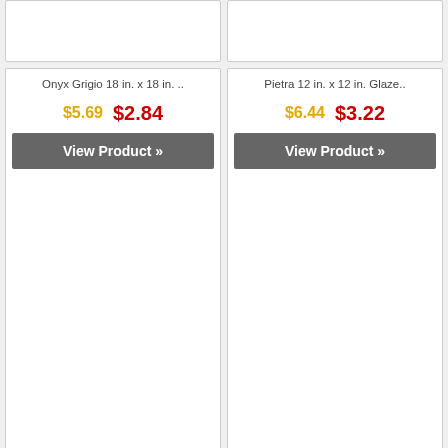[Figure (screenshot): Two product cards partially visible at top (cropped), showing white card borders on gray background]
[Figure (screenshot): Product card: Onyx Grigio 18 in. x 18 in. .. with old price $5.69 and new price $2.84, View Product button]
[Figure (screenshot): Product card: Pietra 12 in. x 12 in. Glaze.. with old price $6.44 and new price $3.22, View Product button]
Pietra Calacatta 12 in. x 12 in. Glazed Polished
Pietra Dunes 12 in. x 24 in. Glazed Polished